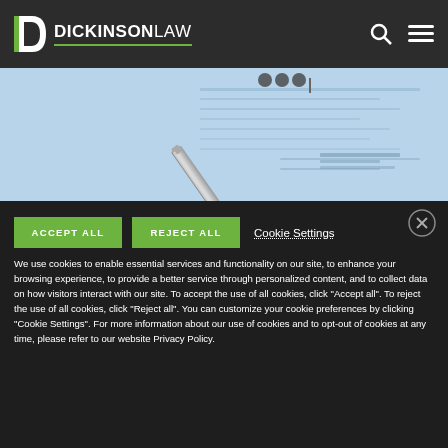DICKINSONLAW
[Figure (photo): Close-up photo of a ballpoint pen resting on a document with blurred text in background, blue-tinted]
ACCEPT ALL   REJECT ALL   Cookie Settings
We use cookies to enable essential services and functionality on our site, to enhance your browsing experience, to provide a better service through personalized content, and to collect data on how visitors interact with our site. To accept the use of all cookies, click "Accept all". To reject the use of all cookies, click "Reject all". You can customize your cookie preferences by clicking "Cookie Settings". For more information about our use of cookies and to opt-out of cookies at any time, please refer to our website Privacy Policy.